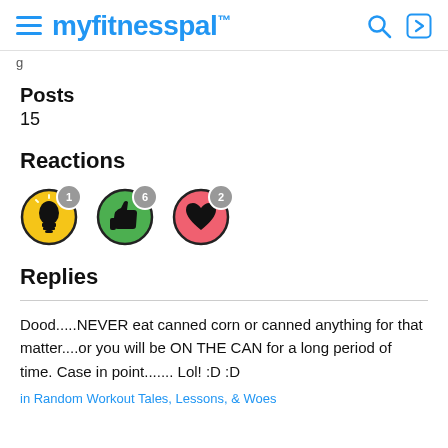myfitnesspal
g
Posts
15
Reactions
[Figure (infographic): Three reaction icons: yellow lightbulb with badge 1, green thumbs-up with badge 6, pink heart with badge 2]
Replies
Dood.....NEVER eat canned corn or canned anything for that matter....or you will be ON THE CAN for a long period of time. Case in point....... Lol! :D :D
in Random Workout Tales, Lessons, & Woes